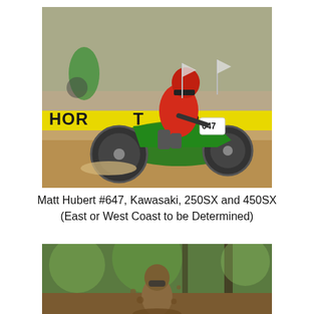[Figure (photo): Motocross rider wearing red helmet and red gear riding a green Kawasaki dirt bike (#647) on a dirt track, leaning through a corner. Yellow THOR banner visible in background, other bikes visible in far background.]
Matt Hubert #647, Kawasaki, 250SX and 450SX (East or West Coast to be Determined)
[Figure (photo): Motocross rider completely covered in mud riding through a muddy outdoor course, green trees visible in background.]